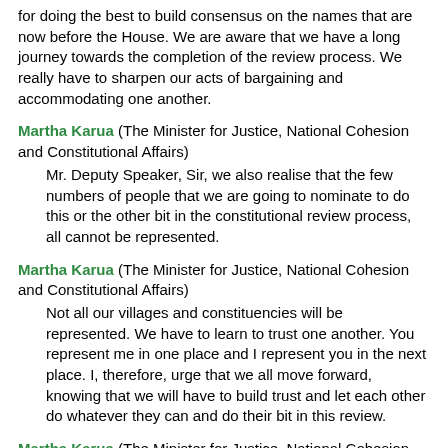for doing the best to build consensus on the names that are now before the House. We are aware that we have a long journey towards the completion of the review process. We really have to sharpen our acts of bargaining and accommodating one another.
Martha Karua (The Minister for Justice, National Cohesion and Constitutional Affairs)
Mr. Deputy Speaker, Sir, we also realise that the few numbers of people that we are going to nominate to do this or the other bit in the constitutional review process, all cannot be represented.
Martha Karua (The Minister for Justice, National Cohesion and Constitutional Affairs)
Not all our villages and constituencies will be represented. We have to learn to trust one another. You represent me in one place and I represent you in the next place. I, therefore, urge that we all move forward, knowing that we will have to build trust and let each other do whatever they can and do their bit in this review.
Martha Karua (The Minister for Justice, National Cohesion and Constitutional Affairs)
I want to support the hon. Member who talked about corruption. I would like to say that corruption, in my view, does not begin with